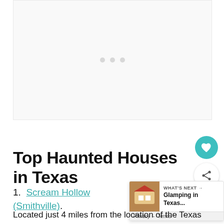[Figure (other): Advertisement placeholder with three gray dots centered in a light gray box]
Top Haunted Houses in Texas
1. Scream Hollow (Smithville).
Located just 4 miles from the location of the Texas